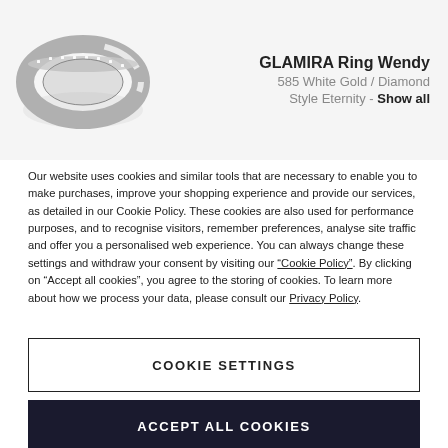[Figure (photo): GLAMIRA diamond ring (Wendy style) shown from a slight angle, silver/white gold band with diamonds]
GLAMIRA Ring Wendy
585 White Gold / Diamond
Style Eternity - Show all
Our website uses cookies and similar tools that are necessary to enable you to make purchases, improve your shopping experience and provide our services, as detailed in our Cookie Policy. These cookies are also used for performance purposes, and to recognise visitors, remember preferences, analyse site traffic and offer you a personalised web experience. You can always change these settings and withdraw your consent by visiting our “Cookie Policy”. By clicking on “Accept all cookies”, you agree to the storing of cookies. To learn more about how we process your data, please consult our Privacy Policy.
COOKIE SETTINGS
ACCEPT ALL COOKIES